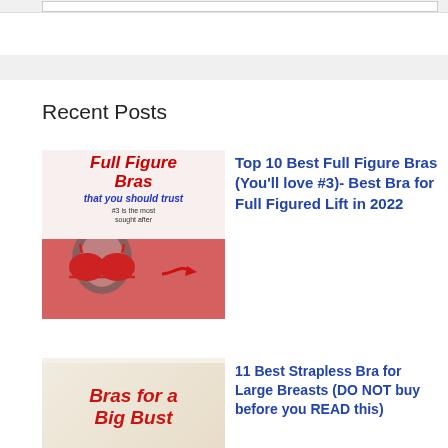Recent Posts
[Figure (illustration): Promotional image for full figure bras article with red cursive text reading 'Full Figure Bras that you should trust', note '#3 is the most sought after', and image of woman in red bra]
Top 10 Best Full Figure Bras (You'll love #3)- Best Bra for Full Figured Lift in 2022
[Figure (illustration): Promotional image for strapless bra article with red cursive text 'Bras for a Big Bust' on light background]
11 Best Strapless Bra for Large Breasts (DO NOT buy before you READ this)